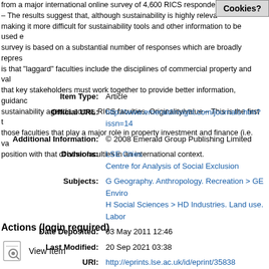from a major international online survey of 4,600 RICS respondents – The results suggest that, although sustainability is highly relevant, making it more difficult for sustainability tools and other information to be used effectively. The survey is based on a substantial number of responses which are broadly representative. A key finding is that "laggard" faculties include the disciplines of commercial property and valuation. The paper proposes that key stakeholders must work together to provide better information, guidance and leadership on the sustainability agenda across RICS faculties. Originality/value – This is the first to compare the position of those faculties that play a major role in property investment and finance (i.e. valuation) and compare their position with that of other faculties in an international context.
| Field | Value |
| --- | --- |
| Item Type: | Article |
| Official URL: | http://www.emeraldinsight.com/journals.htm?issn=14... |
| Additional Information: | © 2008 Emerald Group Publishing Limited |
| Divisions: | LSE Cities
Centre for Analysis of Social Exclusion |
| Subjects: | G Geography. Anthropology. Recreation > GE Enviro...
H Social Sciences > HD Industries. Land use. Labor... |
| Date Deposited: | 03 May 2011 12:46 |
| Last Modified: | 20 Sep 2021 03:38 |
| URI: | http://eprints.lse.ac.uk/id/eprint/35838 |
Actions (login required)
View Item